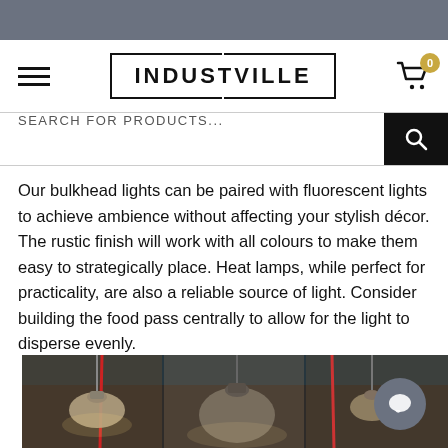INDUSTVILLE
SEARCH FOR PRODUCTS...
Our bulkhead lights can be paired with fluorescent lights to achieve ambience without affecting your stylish décor. The rustic finish will work with all colours to make them easy to strategically place. Heat lamps, while perfect for practicality, are also a reliable source of light. Consider building the food pass centrally to allow for the light to disperse evenly.
[Figure (photo): Pendant lights hanging from ceiling in industrial style setting, with red cables visible and metallic lamp shades]